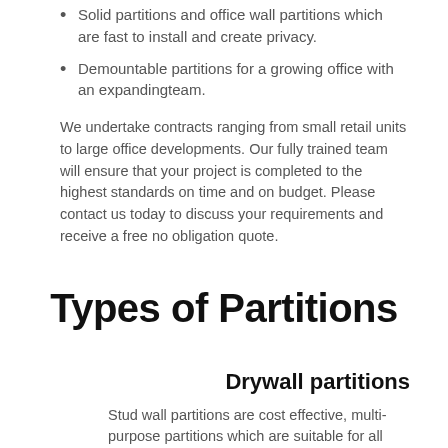Solid partitions and office wall partitions which are fast to install and create privacy.
Demountable partitions for a growing office with an expandingteam.
We undertake contracts ranging from small retail units to large office developments. Our fully trained team will ensure that your project is completed to the highest standards on time and on budget. Please contact us today to discuss your requirements and receive a free no obligation quote.
Types of Partitions
Drywall partitions
Stud wall partitions are cost effective, multi-purpose partitions which are suitable for all types of buildings including residential, health care and commercial. Seperating walls are an economical